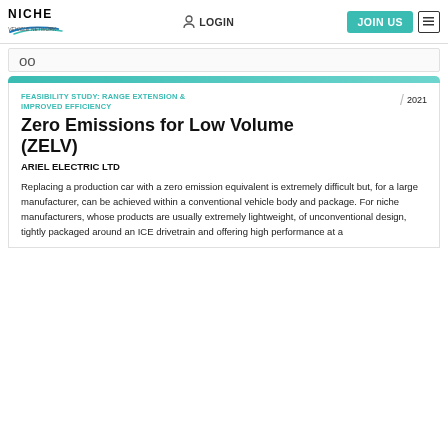NICHE VEHICLE NETWORKS — LOGIN — JOIN US
oo
FEASIBILITY STUDY: RANGE EXTENSION & IMPROVED EFFICIENCY  /  2021
Zero Emissions for Low Volume (ZELV)
ARIEL ELECTRIC LTD
Replacing a production car with a zero emission equivalent is extremely difficult but, for a large manufacturer, can be achieved within a conventional vehicle body and package. For niche manufacturers, whose products are usually extremely lightweight, of unconventional design, tightly packaged around an ICE drivetrain and offering high performance at a